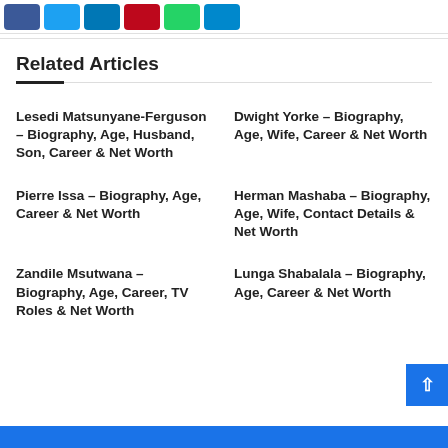Related Articles
Lesedi Matsunyane-Ferguson – Biography, Age, Husband, Son, Career & Net Worth
Dwight Yorke – Biography, Age, Wife, Career & Net Worth
Pierre Issa – Biography, Age, Career & Net Worth
Herman Mashaba – Biography, Age, Wife, Contact Details & Net Worth
Zandile Msutwana – Biography, Age, Career, TV Roles & Net Worth
Lunga Shabalala – Biography, Age, Career & Net Worth